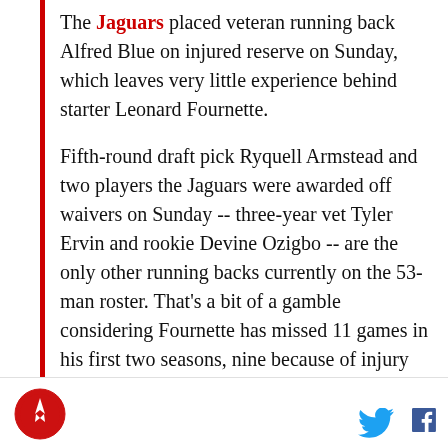The Jaguars placed veteran running back Alfred Blue on injured reserve on Sunday, which leaves very little experience behind starter Leonard Fournette.
Fifth-round draft pick Ryquell Armstead and two players the Jaguars were awarded off waivers on Sunday -- three-year vet Tyler Ervin and rookie Devine Ozigbo -- are the only other running backs currently on the 53-man roster. That's a bit of a gamble considering Fournette has missed 11 games in his first two seasons, nine because of injury and two because of suspensions.
Blue suffered a left ankle injury during the second preseason game and has not practiced since. He is
[Figure (logo): Rocket/sports website circular logo in red and white]